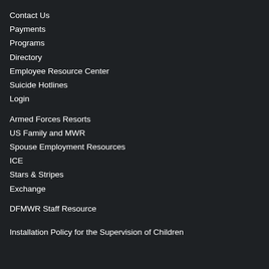Contact Us
Payments
Programs
Directory
Employee Resource Center
Suicide Hotlines
Login
Armed Forces Resorts
US Family and MWR
Spouse Employment Resources
ICE
Stars & Stripes
Exchange
DFMWR Staff Resource
Installation Policy for the Supervision of Children